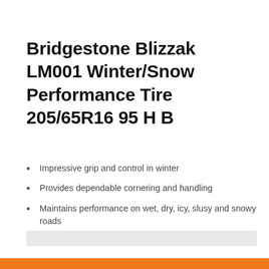Bridgestone Blizzak LM001 Winter/Snow Performance Tire 205/65R16 95 H B
Impressive grip and control in winter
Provides dependable cornering and handling
Maintains performance on wet, dry, icy, slusy and snowy roads
Backed by Bridgestone's Winter Tire Limited Warranty